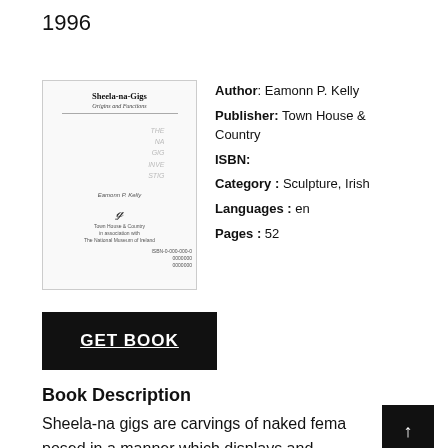1996
[Figure (illustration): Book cover of 'Sheela-na-Gigs: Origins and Functions' by Eamonn P. Kelly, published by Town House & Country in association with The National Museum of Ireland]
Author: Eamonn P. Kelly
Publisher: Town House & Country
ISBN:
Category : Sculpture, Irish
Languages : en
Pages : 52
GET BOOK
Book Description
Sheela-na gigs are carvings of naked feme posed in a manner which displays and emphasises the genitalia. Once thought of in